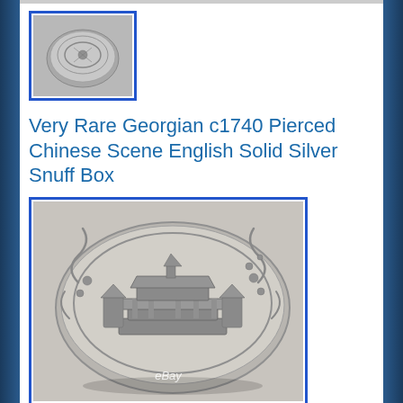[Figure (photo): Small thumbnail photo of a silver snuff box viewed from above, with blue border, showing decorative relief work]
Very Rare Georgian c1740 Pierced Chinese Scene English Solid Silver Snuff Box
[Figure (photo): Large photo of an oval solid silver snuff box with pierced Chinese scene relief decoration showing pagodas and scrollwork, with eBay watermark, blue border]
[Figure (photo): Partial view of another photo of the snuff box, blue border, partially visible at bottom of page]